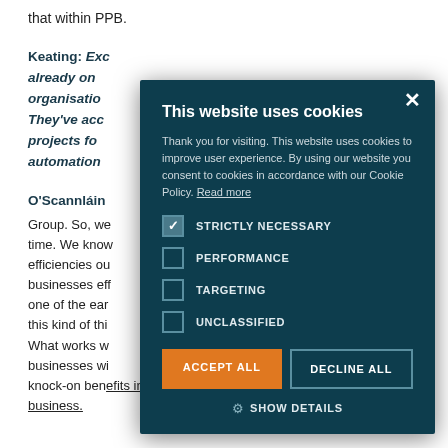that within PPB.
Keating: Exc... already on... organisatio... They've acc... projects fo... automation...
O'Scannláin... Group. So, we... time. We know... efficiencies ou... businesses eff... one of the ear... this kind of thi... What works w... businesses wi... knock-on bene...
This website uses cookies

Thank you for visiting. This website uses cookies to improve user experience. By using our website you consent to cookies in accordance with our Cookie Policy. Read more

STRICTLY NECESSARY
PERFORMANCE
TARGETING
UNCLASSIFIED

ACCEPT ALL   DECLINE ALL

SHOW DETAILS